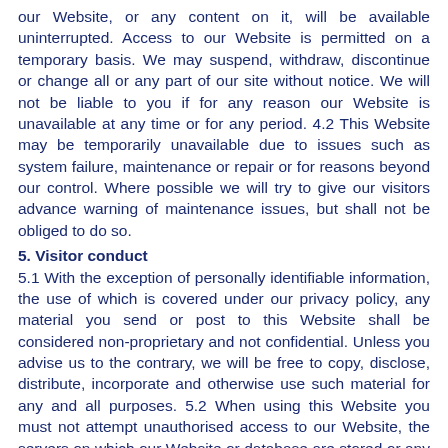our Website, or any content on it, will be available uninterrupted. Access to our Website is permitted on a temporary basis. We may suspend, withdraw, discontinue or change all or any part of our site without notice. We will not be liable to you if for any reason our Website is unavailable at any time or for any period. 4.2 This Website may be temporarily unavailable due to issues such as system failure, maintenance or repair or for reasons beyond our control. Where possible we will try to give our visitors advance warning of maintenance issues, but shall not be obliged to do so.
5. Visitor conduct
5.1 With the exception of personally identifiable information, the use of which is covered under our privacy policy, any material you send or post to this Website shall be considered non-proprietary and not confidential. Unless you advise us to the contrary, we will be free to copy, disclose, distribute, incorporate and otherwise use such material for any and all purposes. 5.2 When using this Website you must not attempt unauthorised access to our Website, the servers on which our Website or database are stored or any servers, computer or database connected to our site, and you shall not post or send to or from this Website any material: 5.2.1 for which you have not obtained all necessary consents;